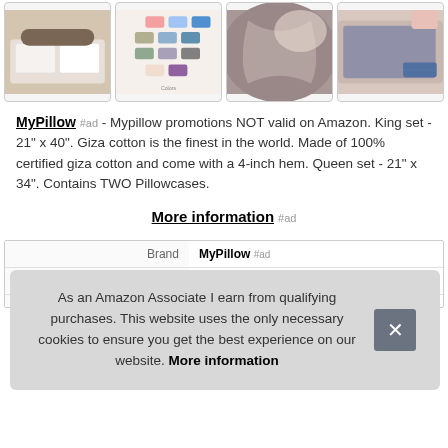[Figure (photo): Row of four product thumbnail images: white pillowcase on bed, color swatches grid, pillow close-up, and blue/gray pillow]
MyPillow #ad - Mypillow promotions NOT valid on Amazon. King set - 21" x 40". Giza cotton is the finest in the world. Made of 100% certified giza cotton and come with a 4-inch hem. Queen set - 21" x 34". Contains TWO Pillowcases.
More information #ad
|  |  |
| --- | --- |
| Brand | MyPillow #ad |
| Ma |  |
|  |  |
As an Amazon Associate I earn from qualifying purchases. This website uses the only necessary cookies to ensure you get the best experience on our website. More information